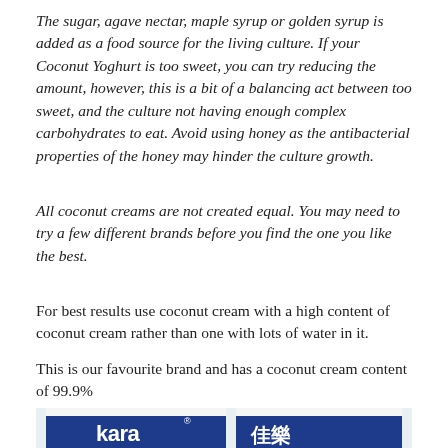The sugar, agave nectar, maple syrup or golden syrup is added as a food source for the living culture. If your Coconut Yoghurt is too sweet, you can try reducing the amount, however, this is a bit of a balancing act between too sweet, and the culture not having enough complex carbohydrates to eat. Avoid using honey as the antibacterial properties of the honey may hinder the culture growth.
All coconut creams are not created equal. You may need to try a few different brands before you find the one you like the best.
For best results use coconut cream with a high content of coconut cream rather than one with lots of water in it.
This is our favourite brand and has a coconut cream content of 99.9%
[Figure (photo): Photo of two Kara brand coconut cream cartons — one showing the English 'kara' logo and one showing the Chinese characters '佳樂', both in white text on blue/navy packaging with white cartons.]